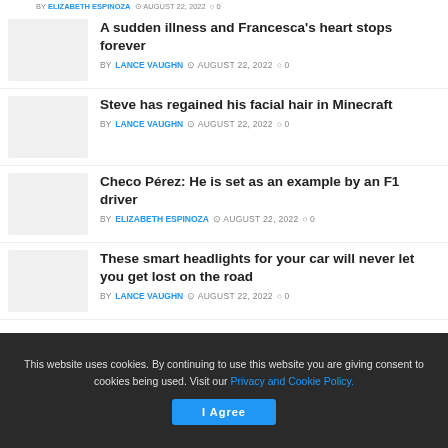BY ELIZABETH ESPINOZA · AUGUST 22, 2022 · 0
A sudden illness and Francesca's heart stops forever — BY LANCE VAUGHN · AUGUST 22, 2022 · 0
Steve has regained his facial hair in Minecraft — BY LANCE VAUGHN · AUGUST 22, 2022 · 0
Checo Pérez: He is set as an example by an F1 driver — BY ELIZABETH ESPINOZA · AUGUST 22, 2022 · 0
These smart headlights for your car will never let you get lost on the road — BY LANCE VAUGHN · AUGUST 22, 2022 · 0
This website uses cookies. By continuing to use this website you are giving consent to cookies being used. Visit our Privacy and Cookie Policy.